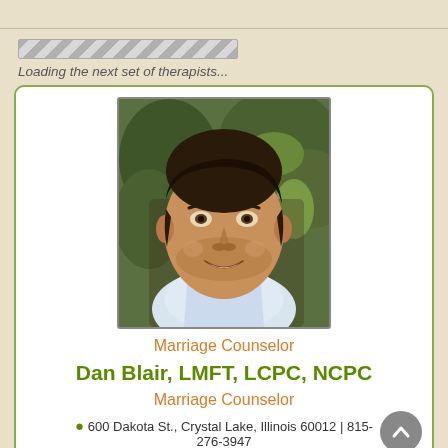Loading the next set of therapists...
[Figure (photo): Headshot of Dan Blair, a middle-aged man with dark hair, smiling, wearing a white shirt, photographed outdoors with green foliage in the background.]
Marriage Counselor
Dan Blair, LMFT, LCPC, NCPC
Marriage Counselor
600 Dakota St., Crystal Lake, Illinois 60012 | 815-276-3947